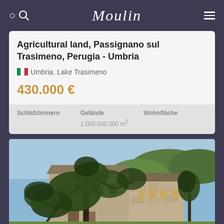Moulin
Agricultural land, Passignano sul Trasimeno, Perugia - Umbria
Umbria, Lake Trasimeno
430.000 €
| Schlafzimmern | Gelände | Wohnfläche |
| --- | --- | --- |
|  | 1.000.000.000 m² |  |
[Figure (photo): Exterior photo of a stone farmhouse in Umbria with trees in the foreground, taken on a sunny day with blue sky. The building has multiple stories, stone walls, and wooden shutters.]